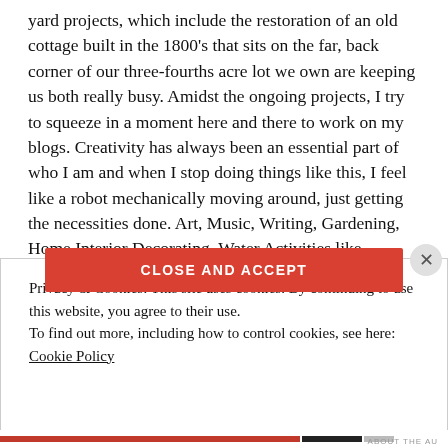yard projects, which include the restoration of an old cottage built in the 1800's that sits on the far, back corner of our three-fourths acre lot we own are keeping us both really busy. Amidst the ongoing projects, I try to squeeze in a moment here and there to work on my blogs. Creativity has always been an essential part of who I am and when I stop doing things like this, I feel like a robot mechanically moving around, just getting the necessities done. Art, Music, Writing, Gardening, Home Interior Decorating, Water Activities like swimming and kayaking are the things I crave and try to find time to do. We have to "make it a good day"!
Privacy & Cookies: This site uses cookies. By continuing to use this website, you agree to their use.
To find out more, including how to control cookies, see here:
Cookie Policy
CLOSE AND ACCEPT